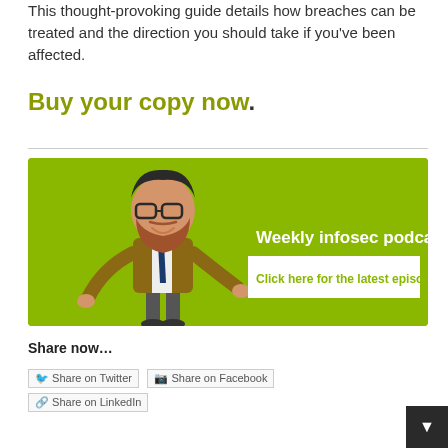This thought-provoking guide details how breaches can be treated and the direction you should take if you've been affected.
Buy your copy now.
[Figure (illustration): Green banner advertisement for a weekly infosec podcast featuring an animated cartoon man with a beard and glasses wearing a suit, with text 'Weekly infosec podcast' and 'Click here for the latest episode' on a white rectangular background.]
Share now...
Share on Twitter  Share on Facebook  Share on LinkedIn